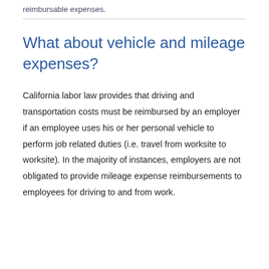reimbursable expenses.
What about vehicle and mileage expenses?
California labor law provides that driving and transportation costs must be reimbursed by an employer if an employee uses his or her personal vehicle to perform job related duties (i.e. travel from worksite to worksite). In the majority of instances, employers are not obligated to provide mileage expense reimbursements to employees for driving to and from work.